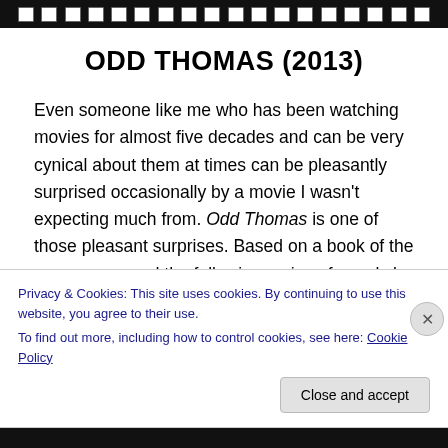[Figure (illustration): Film strip at the top of a movie review page, showing black strip with white rectangular holes]
ODD THOMAS (2013)
Even someone like me who has been watching movies for almost five decades and can be very cynical about them at times can be pleasantly surprised occasionally by a movie I wasn’t expecting much from. Odd Thomas is one of those pleasant surprises. Based on a book of the same name and the following series of novels by Dean Koontz, Stephen Sommers’ adaptation tells the story of Odd
Privacy & Cookies: This site uses cookies. By continuing to use this website, you agree to their use.
To find out more, including how to control cookies, see here: Cookie Policy
Close and accept